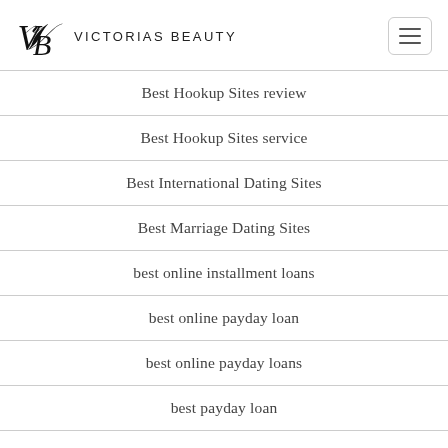Victorias Beauty
Best Hookup Sites review
Best Hookup Sites service
Best International Dating Sites
Best Marriage Dating Sites
best online installment loans
best online payday loan
best online payday loans
best payday loan
best payday loans